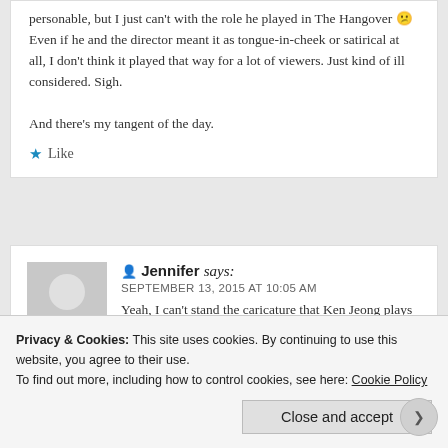personable, but I just can't with the role he played in The Hangover 😕 Even if he and the director meant it as tongue-in-cheek or satirical at all, I don't think it played that way for a lot of viewers. Just kind of ill considered. Sigh.

And there's my tangent of the day.
⭐ Like
Jennifer says:
SEPTEMBER 13, 2015 AT 10:05 AM
Yeah, I can't stand the caricature that Ken Jeong plays in the Hangover franchise (which
Privacy & Cookies: This site uses cookies. By continuing to use this website, you agree to their use.
To find out more, including how to control cookies, see here: Cookie Policy
Close and accept